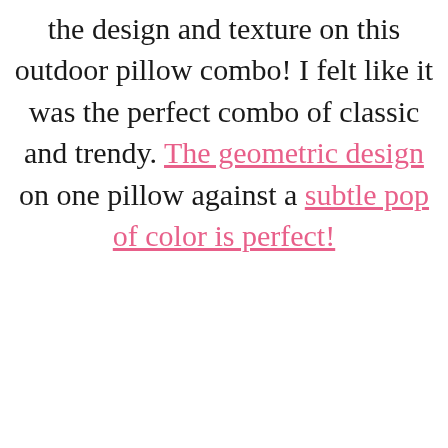the design and texture on this outdoor pillow combo! I felt like it was the perfect combo of classic and trendy. The geometric design on one pillow against a subtle pop of color is perfect!